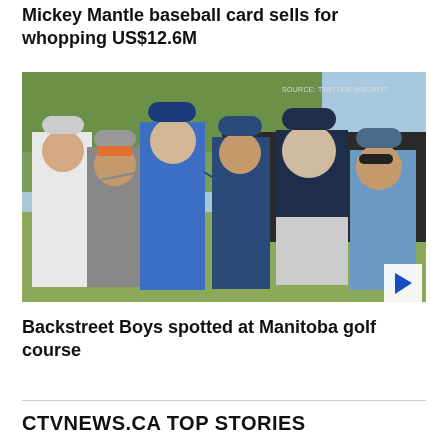Mickey Mantle baseball card sells for whopping US$12.6M
[Figure (photo): Six men posing together on a golf course, wearing golf attire and caps, smiling at camera. Source watermark reads SOURCE: TWITTER @SCRFIT]
Backstreet Boys spotted at Manitoba golf course
CTVNEWS.CA TOP STORIES